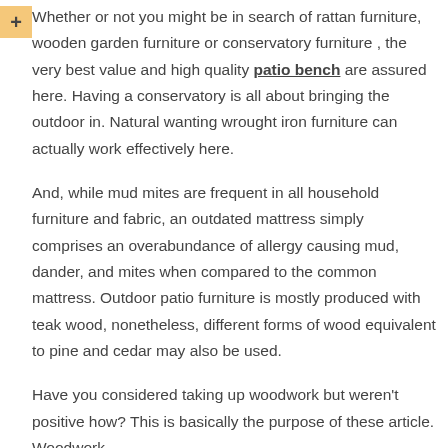Whether or not you might be in search of rattan furniture, wooden garden furniture or conservatory furniture , the very best value and high quality patio bench are assured here. Having a conservatory is all about bringing the outdoor in. Natural wanting wrought iron furniture can actually work effectively here.
And, while mud mites are frequent in all household furniture and fabric, an outdated mattress simply comprises an overabundance of allergy causing mud, dander, and mites when compared to the common mattress. Outdoor patio furniture is mostly produced with teak wood, nonetheless, different forms of wood equivalent to pine and cedar may also be used.
Have you considered taking up woodwork but weren't positive how? This is basically the purpose of these article. Woodwork